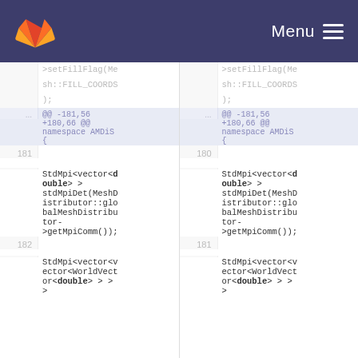GitLab | Menu
[Figure (screenshot): GitLab diff view showing two side-by-side code panels. Left panel (old) and right panel (new) both show C++ code for AMDiS namespace with methods StdMpi<vector<double>> stdMpiDet and StdMpi<vector<vector<WorldVector<double>>> >. Line numbers 181, 182 visible on left; 180, 181 on right. Hunk header @@ -181,56 +180,66 @@ namespace AMDiS { is shown in both panels.]